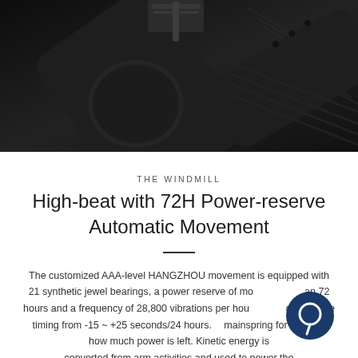[Figure (photo): Close-up dark product photo of a watch strap and case buckle against a dark background]
THE WINDMILL
High-beat with 72H Power-reserve Automatic Movement
The customized AAA-level HANGZHOU movement is equipped with 21 synthetic jewel bearings, a power reserve of more than 72 hours and a frequency of 28,800 vibrations per hour, ensuring a precise timing from -15 ~ +25 seconds/24 hours. With a mainspring for gauging how much power is left. Kinetic energy is converted from arm activities and used to power the watch.